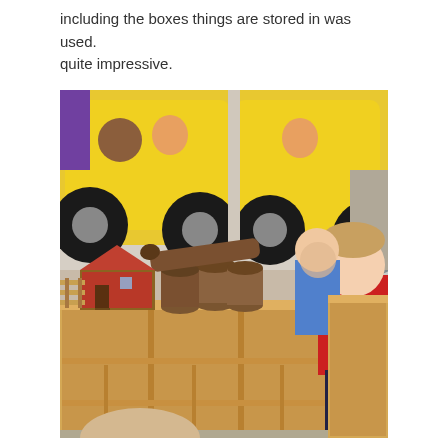including the boxes things are stored in was used. quite impressive.
[Figure (photo): A classroom scene showing children near a wooden shelf unit. On top of the shelf are logs, a toy barn, and other items. In the background, large paper art depicting yellow cars with black wheels is displayed on the wall. Several young children are visible, one in a red shirt prominently in the foreground right.]